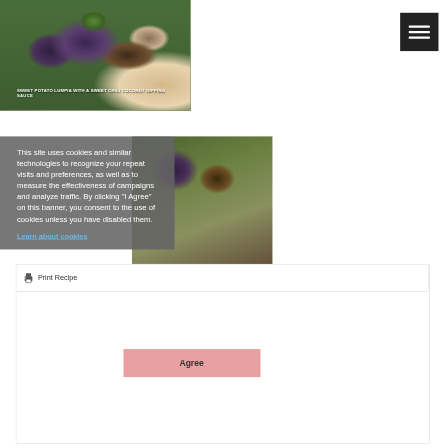[Figure (photo): Food photo of sweet potato lumpia with banana leaves, garnished with cilantro, and a dipping sauce bowl in the background]
SWEET POTATO LUMPIA WITH A SWEET CHILI COCONUT DIPPING SAUCE
[Figure (screenshot): Hamburger/menu icon button in dark background with three white bars]
[Figure (photo): Secondary food photo of sweet potato lumpia visible behind the cookie consent overlay]
This site uses cookies and similar technologies to recognize your repeat visits and preferences, as well as to measure the effectiveness of campaigns and analyze traffic. By clicking “I Agree” on this banner, you consent to the use of cookies unless you have disabled them.
Learn about cookies
Print Recipe
Agree
SWEET POTATO LUMPIA WITH A SWEET CHILI COCONUT